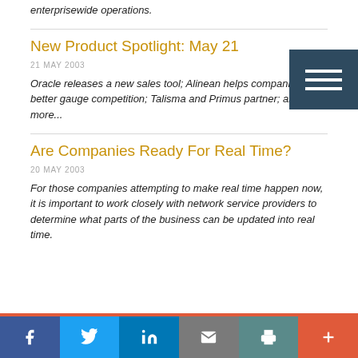enterprisewide operations.
New Product Spotlight: May 21
21 MAY 2003
Oracle releases a new sales tool; Alinean helps companies better gauge competition; Talisma and Primus partner; and more...
Are Companies Ready For Real Time?
20 MAY 2003
For those companies attempting to make real time happen now, it is important to work closely with network service providers to determine what parts of the business can be updated into real time.